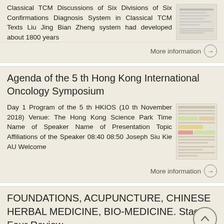Classical TCM Discussions of Six Divisions of Six Confirmations Diagnosis System in Classical TCM Texts Liu Jing Bian Zheng system had developed about 1800 years
More information →
Agenda of the 5 th Hong Kong International Oncology Symposium
Day 1 Program of the 5 th HKIOS (10 th November 2018) Venue: The Hong Kong Science Park Time Name of Speaker Name of Presentation Topic Affiliations of the Speaker 08:40 08:50 Joseph Siu Kie AU Welcome
More information →
FOUNDATIONS, ACUPUNCTURE, CHINESE HERBAL MEDICINE, BIO-MEDICINE. Stage Four Review